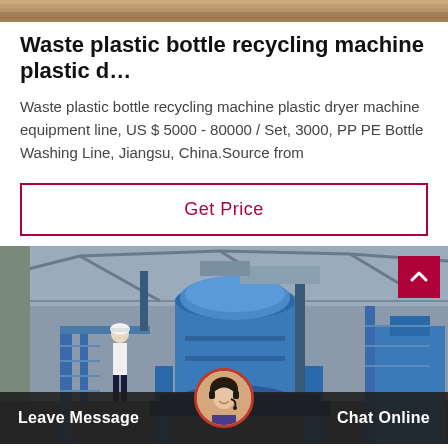[Figure (photo): Top partial image of industrial/machine setting, cropped]
Waste plastic bottle recycling machine plastic d…
Waste plastic bottle recycling machine plastic dryer machine equipment line, US $ 5000 - 80000 / Set, 3000, PP PE Bottle Washing Line, Jiangsu, China.Source from
[Figure (other): Get Price button with crimson border]
[Figure (photo): Factory industrial scene with blue machinery and worker in hard hat, with customer service avatar and Leave Message / Chat Online bottom bar]